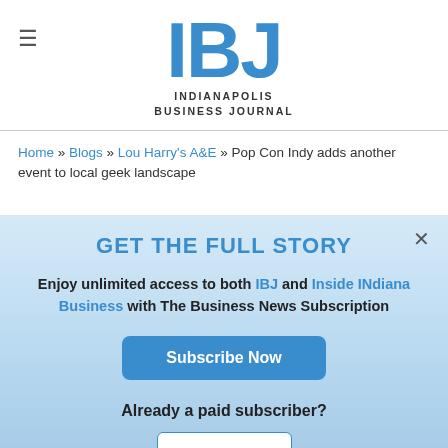IBJ — Indianapolis Business Journal
Home » Blogs » Lou Harry's A&E » Pop Con Indy adds another event to local geek landscape
GET THE FULL STORY
Enjoy unlimited access to both IBJ and Inside INdiana Business with The Business News Subscription
Subscribe Now
Already a paid subscriber?
Log In